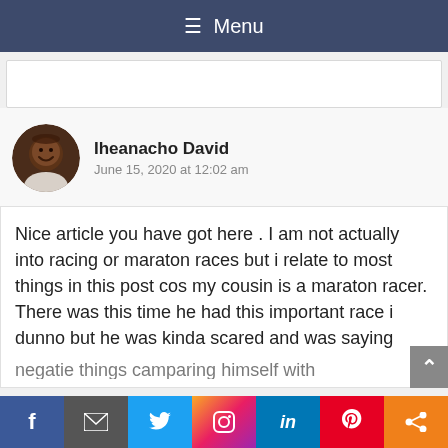≡ Menu
[Figure (photo): Profile photo of Iheanacho David - a man smiling, dark skin]
Iheanacho David
June 15, 2020 at 12:02 am
Nice article you have got here . I am not actually into racing or maraton races but i relate to most things in this post cos my cousin is a maraton racer. There was this time he had this important race i dunno but he was kinda scared and was saying negatie things camparing himself with
f  ✉  🐦  📷  in  P  ≪